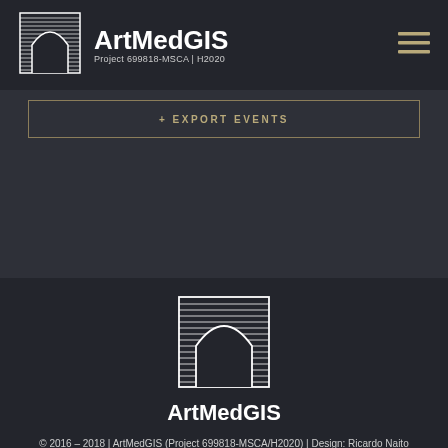[Figure (logo): ArtMedGIS header logo with arch/tunnel icon]
ArtMedGIS
Project 699818-MSCA | H2020
[Figure (other): Hamburger menu icon (three horizontal lines) in gold/tan color]
+ EXPORT EVENTS
[Figure (logo): ArtMedGIS large footer logo with arch/tunnel icon]
ArtMedGIS
© 2016 – 2018 | ArtMedGIS (Project 699818-MSCA/H2020) | Design: Ricardo Naito (BGCT-IEM-FCSH/NOVA)